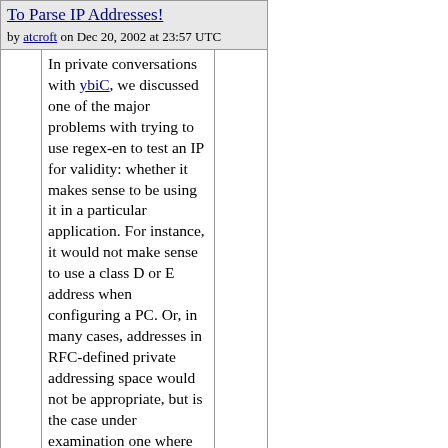To Parse IP Addresses!
by atcroft on Dec 20, 2002 at 23:57 UTC
In private conversations with ybiC, we discussed one of the major problems with trying to use regex-en to test an IP for validity: whether it makes sense to be using it in a particular application. For instance, it would not make sense to use a class D or E address when configuring a PC. Or, in many cases, addresses in RFC-defined private addressing space would not be appropriate, but is the case under examination one where such an address is appropriate? To truly test for validity of the address would thus seem to require knowledge